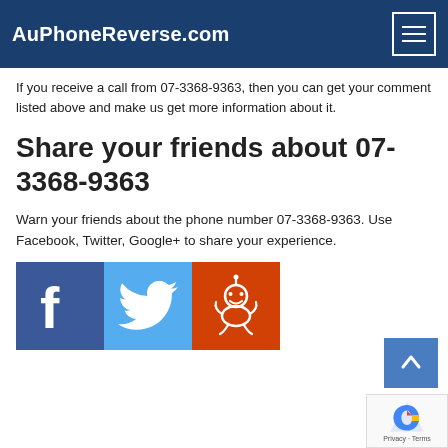AuPhoneReverse.com
If you receive a call from 07-3368-9363, then you can get your comment listed above and make us get more information about it.
Share your friends about 07-3368-9363
Warn your friends about the phone number 07-3368-9363. Use Facebook, Twitter, Google+ to share your experience.
[Figure (illustration): Three social media share buttons: Facebook (blue with f logo), Twitter (light blue with bird logo), Reddit (orange with alien logo)]